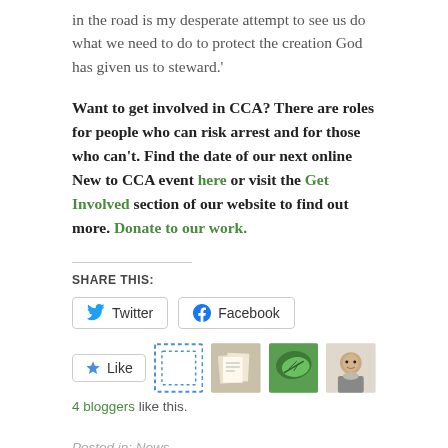in the road is my desperate attempt to see us do what we need to do to protect the creation God has given us to steward.'
Want to get involved in CCA? There are roles for people who can risk arrest and for those who can't. Find the date of our next online New to CCA event here or visit the Get Involved section of our website to find out more. Donate to our work.
SHARE THIS:
[Figure (screenshot): Twitter and Facebook share buttons, a Like button with blogger avatars, and a '4 bloggers like this.' line]
Posted in: News